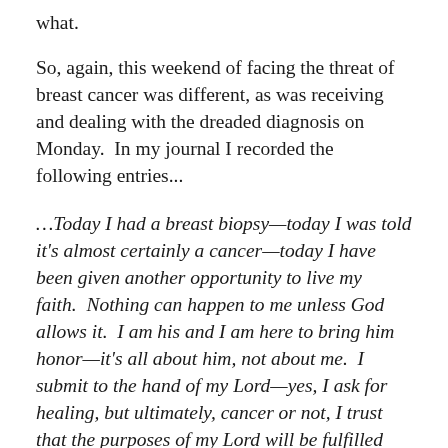what.
So, again, this weekend of facing the threat of breast cancer was different, as was receiving and dealing with the dreaded diagnosis on Monday.  In my journal I recorded the following entries...
...Today I had a breast biopsy—today I was told it's almost certainly a cancer—today I have been given another opportunity to live my faith.  Nothing can happen to me unless God allows it.  I am his and I am here to bring him honor—it's all about him, not about me.  I submit to the hand of my Lord—yes, I ask for healing, but ultimately, cancer or not, I trust that the purposes of my Lord will be fulfilled